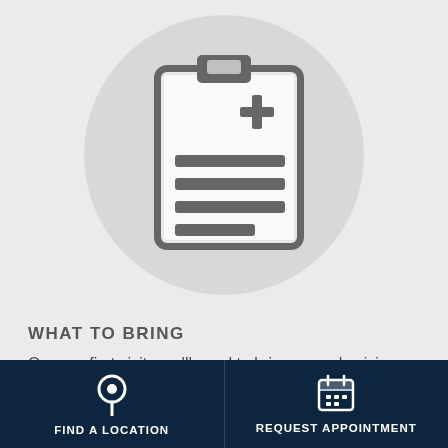[Figure (illustration): Medical clipboard icon with a plus/cross symbol on upper right and horizontal lines representing text, centered inside a large light gray circle, on a light gray background.]
WHAT TO BRING
On your first visit, you'll need to bring your physician referral or prescription (if needed),
[Figure (infographic): Dark navy footer bar split into two buttons: left button shows a location pin icon with text 'FIND A LOCATION'; right button shows a calendar icon with text 'REQUEST APPOINTMENT'.]